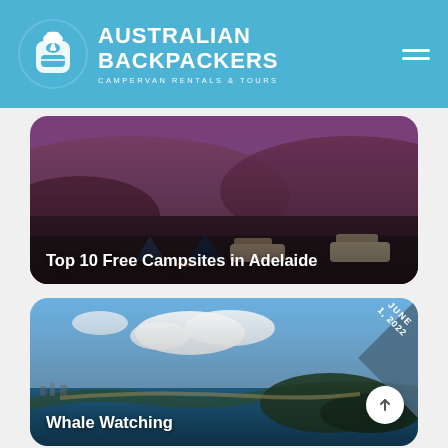AUSTRALIAN BACKPACKERS — CAMPERVAN RENTALS & TOURS
[Figure (photo): Aerial dusk photo of campsites in a sandy desert landscape with tents and SUVs parked, purple/pink sky. Caption overlay: Top 10 Free Campsites in Adelaide]
Top 10 Free Campsites in Adelaide
[Figure (photo): Aerial coastal photo showing a beach, blue sea and a rocky headland with a small coastal town visible, blue sky with clouds. Date ribbon: JUNE 1, 2022. Caption overlay: Whale Watching]
Whale Watching